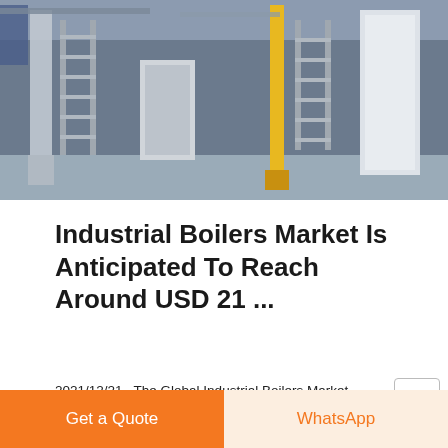[Figure (photo): Industrial boiler room interior with ladders, pipes, and equipment in a factory setting]
Industrial Boilers Market Is Anticipated To Reach Around USD 21 ...
2021/12/21 · The Global Industrial Boilers Market generated revenue of around USD 13.13 billion in 2020 and is anticipated to grow at a CAGR of over 5.74% during the forecast period from 2021 to 2027 to reach
Get a quote
Get a Quote
WhatsApp